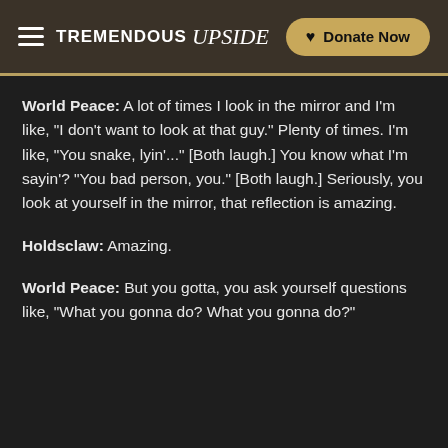TREMENDOUS Upside | Donate Now
World Peace: A lot of times I look in the mirror and I'm like, "I don't want to look at that guy." Plenty of times. I'm like, "You snake, lyin'..." [Both laugh.] You know what I'm sayin'? "You bad person, you." [Both laugh.] Seriously, you look at yourself in the mirror, that reflection is amazing.
Holdsclaw: Amazing.
World Peace: But you gotta, you ask yourself questions like, "What you gonna do? What you gonna do?"